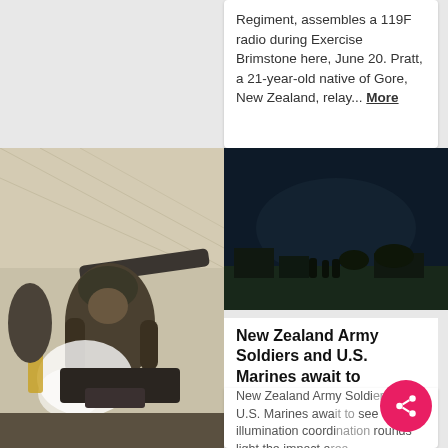Regiment, assembles a 119F radio during Exercise Brimstone here, June 20. Pratt, a 21-year-old native of Gore, New Zealand, relay... More
[Figure (photo): A soldier in combat gear operating an artillery cannon with smoke visible, during a military exercise.]
[Figure (photo): A dark nighttime military scene with silhouettes of soldiers and structures on the horizon.]
New Zealand Army Soldiers and U.S. Marines await to
New Zealand Army Soldiers and U.S. Marines await to see illumination coordination rounds light the impact area